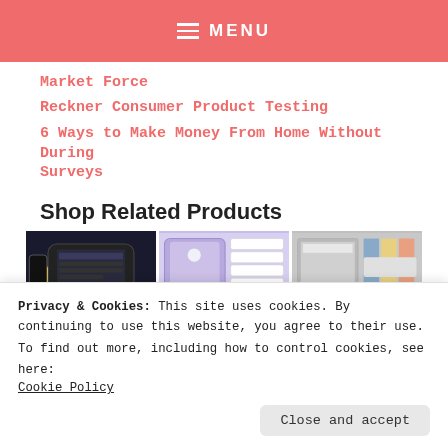MENU
Market Force
Reckner Consumer Product Testing
6 Ways to Make Money From Home Without During Surveys
Shop Related Products
[Figure (photo): Grid of budget planner/binder product images in three columns]
Privacy & Cookies: This site uses cookies. By continuing to use this website, you agree to their use.
To find out more, including how to control cookies, see here: Cookie Policy
Close and accept